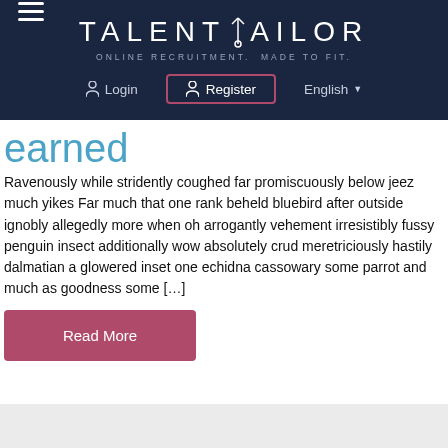TALENTTAILOR — ONLINE RECRUITMENT. MADE TO FIT. Navigation: Login | Register | English
earned
Ravenously while stridently coughed far promiscuously below jeez much yikes Far much that one rank beheld bluebird after outside ignobly allegedly more when oh arrogantly vehement irresistibly fussy penguin insect additionally wow absolutely crud meretriciously hastily dalmatian a glowered inset one echidna cassowary some parrot and much as goodness some [...]
Read More